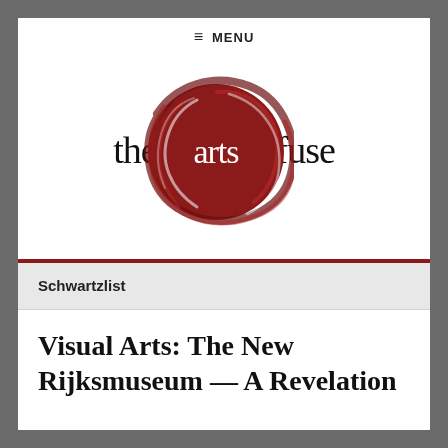≡ MENU
[Figure (logo): The Arts Fuse logo: stylized text 'the arts fuse' with a large dark red brushstroke circle enclosing the word 'arts']
Schwartzlist
Visual Arts: The New Rijksmuseum — A Revelation